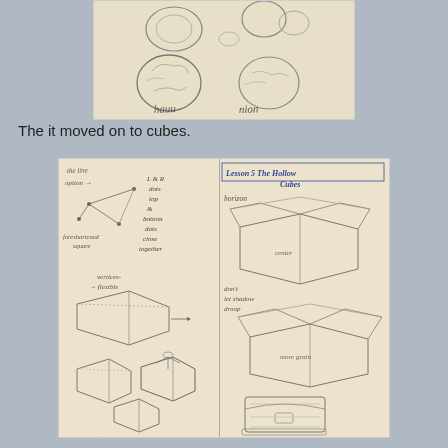[Figure (photo): Photograph of a sketchbook page showing pencil drawings of spherical objects (balls/fruits) with handwritten labels 'heavy' and 'light' at the bottom]
The it moved on to cubes.
[Figure (photo): Photograph of two open sketchbook pages. Left page shows pencil drawings of cube construction with handwritten notes including 'L & R dots', 'top', 'bottom dots close together', 'foreshortened square', 'vertices = flexible', and sketches of boxes/cubes. Right page is titled 'Lesson 5 The Hollow Cubes' with 'horizon' label and sketches of open cardboard boxes and treasure chests, with notes 'don't let shadow droop']